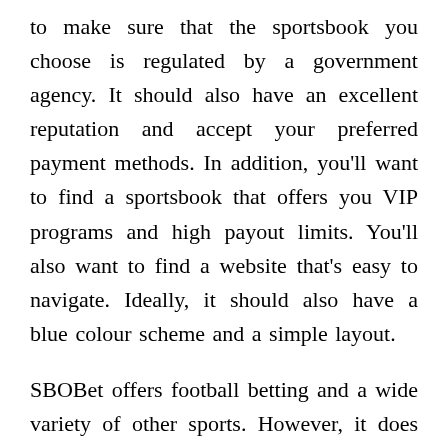to make sure that the sportsbook you choose is regulated by a government agency. It should also have an excellent reputation and accept your preferred payment methods. In addition, you'll want to find a sportsbook that offers you VIP programs and high payout limits. You'll also want to find a website that's easy to navigate. Ideally, it should also have a blue colour scheme and a simple layout.
SBOBet offers football betting and a wide variety of other sports. However, it does not offer many NFL or MLB props. It also doesn't offer many other games, such as darts, snooker, or table tennis. However, you can find blackjack and baccarat games, and even bet on esports. In addition, SBOBet offers a welcome bonus and a range of promotions.
SBOBet is a popular Asian sportsbook with a great